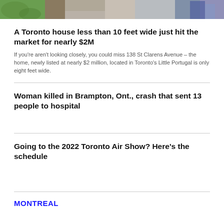[Figure (photo): Horizontal photo strip showing residential street scenes]
A Toronto house less than 10 feet wide just hit the market for nearly $2M
If you're aren't looking closely, you could miss 138 St Clarens Avenue – the home, newly listed at nearly $2 million, located in Toronto's Little Portugal is only eight feet wide.
Woman killed in Brampton, Ont., crash that sent 13 people to hospital
Going to the 2022 Toronto Air Show? Here's the schedule
MONTREAL